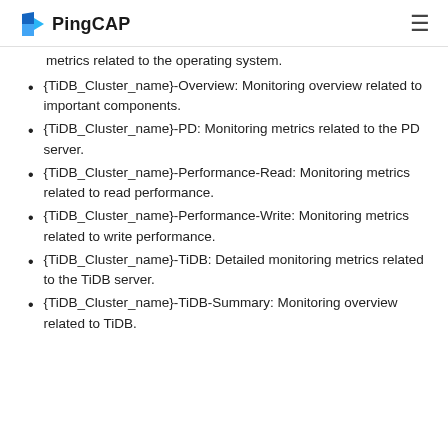PingCAP
metrics related to the operating system.
{TiDB_Cluster_name}-Overview: Monitoring overview related to important components.
{TiDB_Cluster_name}-PD: Monitoring metrics related to the PD server.
{TiDB_Cluster_name}-Performance-Read: Monitoring metrics related to read performance.
{TiDB_Cluster_name}-Performance-Write: Monitoring metrics related to write performance.
{TiDB_Cluster_name}-TiDB: Detailed monitoring metrics related to the TiDB server.
{TiDB_Cluster_name}-TiDB-Summary: Monitoring overview related to TiDB.